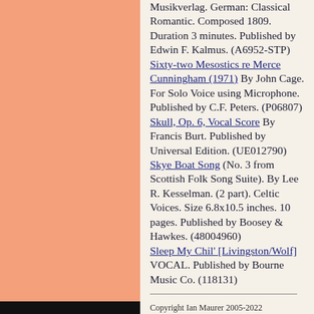Musikverlag. German: Classical Romantic. Composed 1809. Duration 3 minutes. Published by Edwin F. Kalmus. (A6952-STP)
Sixty-two Mesostics re Merce Cunningham (1971) By John Cage. For Solo Voice using Microphone. Published by C.F. Peters. (P06807)
Skull, Op. 6, Vocal Score By Francis Burt. Published by Universal Edition. (UE012790)
Skye Boat Song (No. 3 from Scottish Folk Song Suite). By Lee R. Kesselman. (2 part). Celtic Voices. Size 6.8x10.5 inches. 10 pages. Published by Boosey & Hawkes. (48004960)
Sleep My Chil' [Livingston/Wolf] VOCAL. Published by Bourne Music Co. (118131)
If you would like to browse other similar pages, click here to go to the index and search by title.
Copyright Ian Maurer 2005-2022